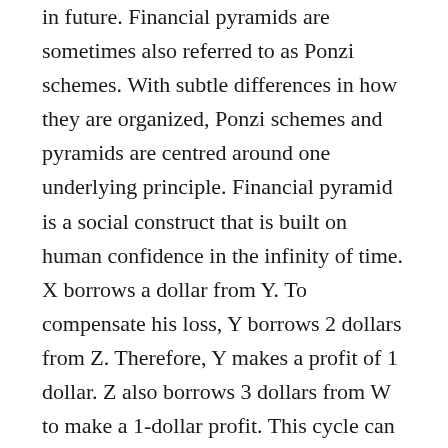in future. Financial pyramids are sometimes also referred to as Ponzi schemes. With subtle differences in how they are organized, Ponzi schemes and pyramids are centred around one underlying principle. Financial pyramid is a social construct that is built on human confidence in the infinity of time. X borrows a dollar from Y. To compensate his loss, Y borrows 2 dollars from Z. Therefore, Y makes a profit of 1 dollar. Z also borrows 3 dollars from W to make a 1-dollar profit. This cycle can go on infinitely and yield 1-dollar profit at each stage until there are no more people to borrow from. If we assume infinite time, the scheme is perfectly functional. However, when there are no sufficient savings from inflows to pay for outflows, a pyramid